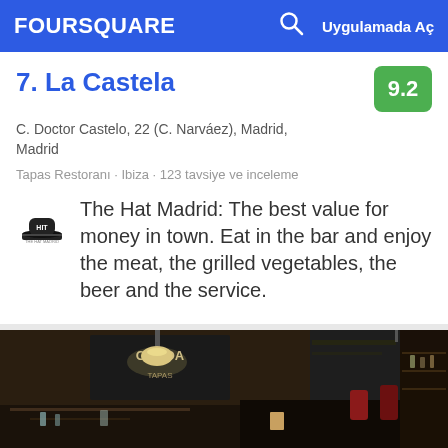FOURSQUARE  [search icon]  Uygulamada Aç
7. La Castela
C. Doctor Castelo, 22 (C. Narváez), Madrid, Madrid
Tapas Restoranı · Ibiza · 123 tavsiye ve inceleme
The Hat Madrid: The best value for money in town. Eat in the bar and enjoy the meat, the grilled vegetables, the beer and the service.
[Figure (photo): Interior photo of La Castela restaurant showing tables, chairs, hanging lamp, and chalkboard menu on dark wall]